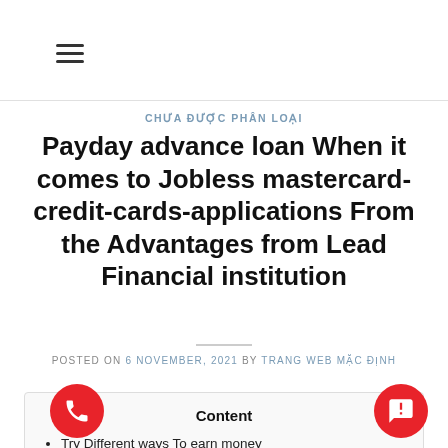≡
CHƯA ĐƯỢC PHÂN LOẠI
Payday advance loan When it comes to Jobless mastercard-credit-cards-applications From the Advantages from Lead Financial institution
POSTED ON 6 NOVEMBER, 2021 BY TRANG WEB MẶC ĐỊNH
Content
Try Different ways To earn money
When are the Biggest Highlights of Instant Loans Towards Jobless?